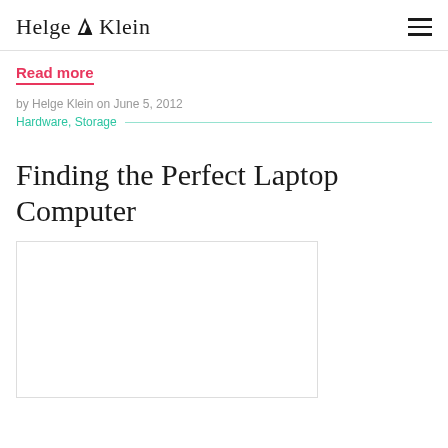Helge Klein
Read more
by Helge Klein on June 5, 2012
Hardware, Storage
Finding the Perfect Laptop Computer
[Figure (photo): Partial image of a laptop computer, mostly white/blank area visible within a bordered rectangle]